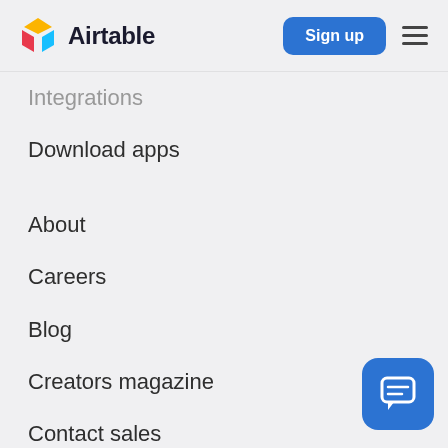Airtable
Integrations
Download apps
About
Careers
Blog
Creators magazine
Contact sales
Press
Twitter
We're hiring!
[Figure (illustration): Blue chat bubble widget button in bottom-right corner]